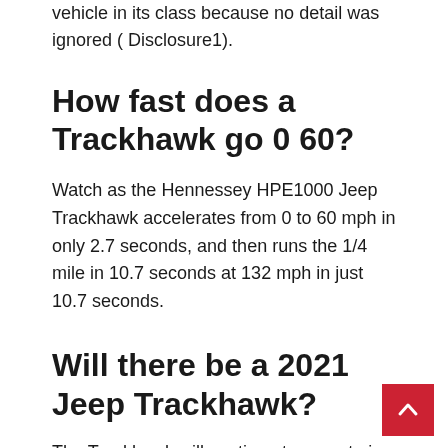vehicle in its class because no detail was ignored ( Disclosure1).
How fast does a Trackhawk go 0 60?
Watch as the Hennessey HPE1000 Jeep Trackhawk accelerates from 0 to 60 mph in only 2.7 seconds, and then runs the 1/4 mile in 10.7 seconds at 132 mph in just 10.7 seconds.
Will there be a 2021 Jeep Trackhawk?
The Trackhawk will continue to operate in its